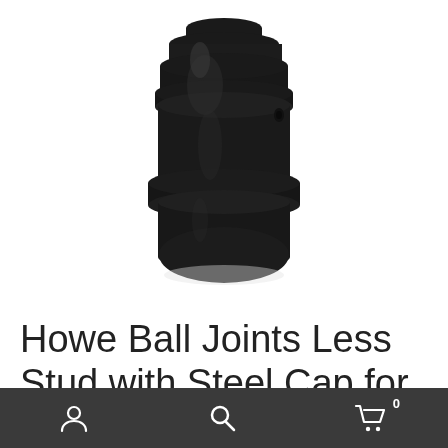[Figure (photo): Close-up photo of a black metal ball joint component (Howe Ball Joint Less Stud with Steel Cap) on a white background, showing a cylindrical threaded body with ridged sections and a rounded base.]
Howe Ball Joints Less Stud with Steel Cap for
[Figure (screenshot): Mobile app bottom navigation bar with dark background containing three icons: user/account icon on the left, search magnifying glass icon in the center, and shopping cart icon with badge showing '0' on the right.]